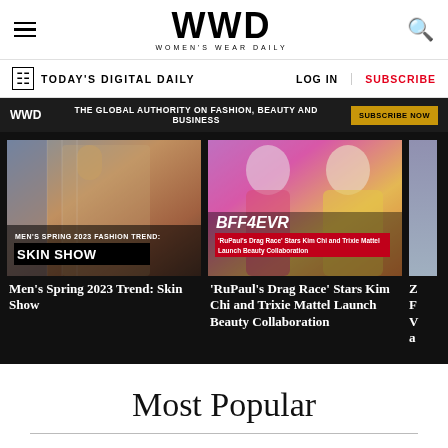WWD — Women's Wear Daily
TODAY'S DIGITAL DAILY | LOG IN | SUBSCRIBE
WWD — THE GLOBAL AUTHORITY ON FASHION, BEAUTY AND BUSINESS — SUBSCRIBE NOW
[Figure (screenshot): Men's Spring 2023 Fashion Trend: Skin Show — article card with fashion model image]
Men's Spring 2023 Trend: Skin Show
[Figure (screenshot): BFF4EVR — 'RuPaul's Drag Race' Stars Kim Chi and Trixie Mattel Launch Beauty Collaboration — article card with two drag performers in colorful gowns]
'RuPaul's Drag Race' Stars Kim Chi and Trixie Mattel Launch Beauty Collaboration
Most Popular